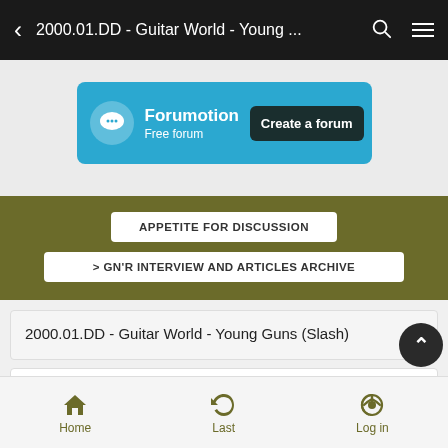2000.01.DD - Guitar World - Young ...
[Figure (screenshot): Forumotion banner advertisement: 'Forumotion Free forum' with a 'Create a forum' button on a teal background]
APPETITE FOR DISCUSSION
> GN'R INTERVIEW AND ARTICLES ARCHIVE
2000.01.DD - Guitar World - Young Guns (Slash)
Home   Last   Log in